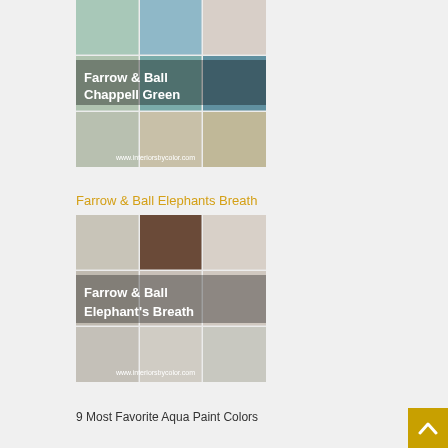[Figure (photo): Collage of interior room photos featuring Farrow & Ball Chappell Green paint color, arranged in a 3x3 grid with text overlay reading 'Farrow & Ball Chappell Green' and website www.interiorsbycolor.com]
Farrow & Ball Elephants Breath
[Figure (photo): Collage of interior room photos featuring Farrow & Ball Elephant's Breath paint color, arranged in a 3x3 grid with text overlay reading "Farrow & Ball Elephant's Breath" and website www.interiorsbycolor.com]
9 Most Favorite Aqua Paint Colors